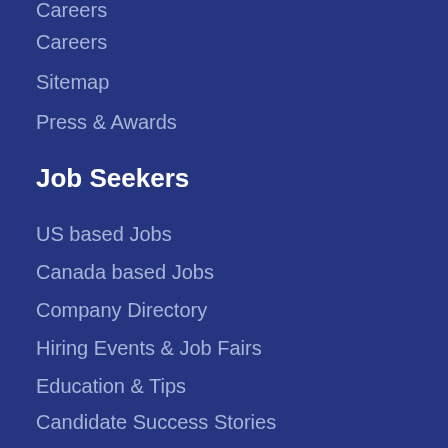Careers
Sitemap
Press & Awards
Job Seekers
US based Jobs
Canada based Jobs
Company Directory
Hiring Events & Job Fairs
Education & Tips
Candidate Success Stories
Employers